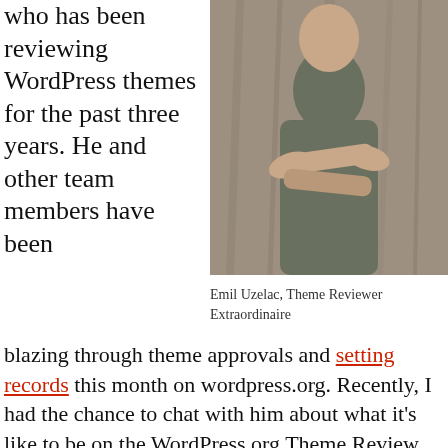who has been reviewing WordPress themes for the past three years. He and other team members have been
[Figure (photo): Man with arms crossed leaning against a wooden wall, wearing a grey t-shirt]
Emil Uzelac, Theme Reviewer Extraordinaire
blazing through theme approvals and setting records this month on wordpress.org. Recently, I had the chance to chat with him about what it’s like to be on the WordPress.org Theme Review Team.
In case you didn’t know, every theme submitted to WordPress.org has to go through a process of